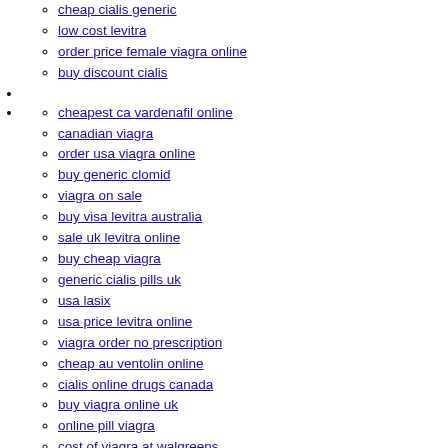cheap cialis generic
low cost levitra
order price female viagra online
buy discount cialis
cheapest ca vardenafil online
canadian viagra
order usa viagra online
buy generic clomid
viagra on sale
buy visa levitra australia
sale uk levitra online
buy cheap viagra
generic cialis pills uk
usa lasix
usa price levitra online
viagra order no prescription
cheap au ventolin online
cialis online drugs canada
buy viagra online uk
online pill viagra
cost of viagra at walgreens
great britain cheap viagra
online shop priligy us
price usa viagra drugs